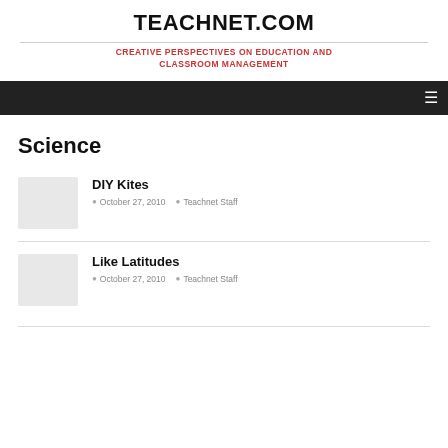TEACHNET.COM
CREATIVE PERSPECTIVES ON EDUCATION AND CLASSROOM MANAGEMENT
Science
DIY Kites
October 27, 2010 | Teachnet Staff
Like Latitudes
October 27, 2010 | Teachnet Staff